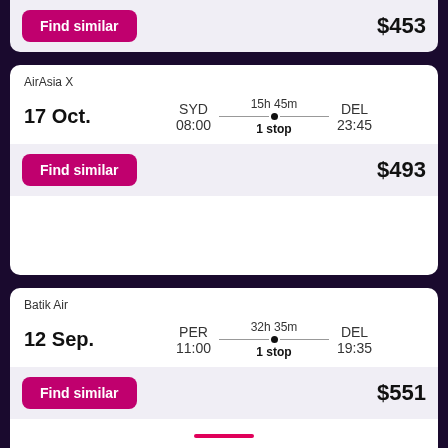$453
AirAsia X
17 Oct.
SYD 08:00
15h 45m · 1 stop
DEL 23:45
$493
Batik Air
12 Sep.
PER 11:00
32h 35m · 1 stop
DEL 19:35
$551